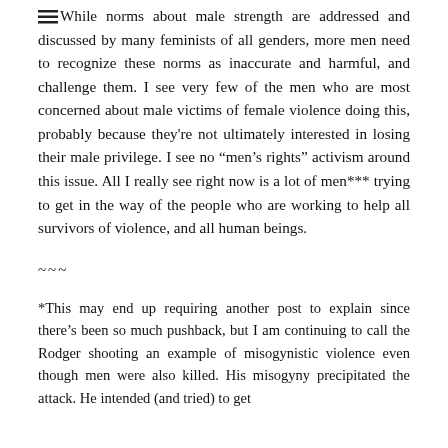While norms about male strength are addressed and discussed by many feminists of all genders, more men need to recognize these norms as inaccurate and harmful, and challenge them. I see very few of the men who are most concerned about male victims of female violence doing this, probably because they're not ultimately interested in losing their male privilege. I see no “men’s rights” activism around this issue. All I really see right now is a lot of men*** trying to get in the way of the people who are working to help all survivors of violence, and all human beings.
~~~
*This may end up requiring another post to explain since there’s been so much pushback, but I am continuing to call the Rodger shooting an example of misogynistic violence even though men were also killed. His misogyny precipitated the attack. He intended (and tried) to get